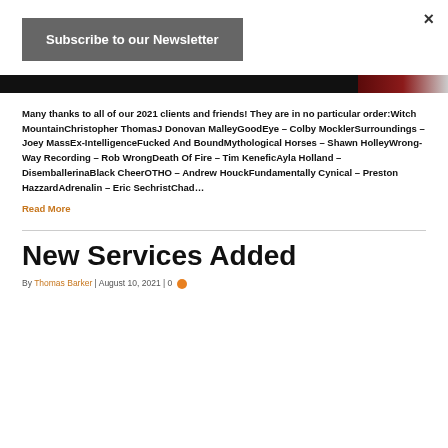×
Subscribe to our Newsletter
[Figure (photo): Dark horizontal image banner, partially visible, with dark red/brown tones on the right side]
Many thanks to all of our 2021 clients and friends! They are in no particular order:Witch MountainChristopher ThomasJ Donovan MalleyGoodEye – Colby MocklerSurroundings – Joey MassEx-IntelligenceFucked And BoundMythological Horses – Shawn HolleyWrong-Way Recording – Rob WrongDeath Of Fire – Tim KeneficAyla Holland – DisemballerinaBlack CheerOTHO – Andrew HouckFundamentally Cynical – Preston HazzardAdrenalin – Eric SechristChad…
Read More
New Services Added
By Thomas Barker | August 10, 2021 | 0